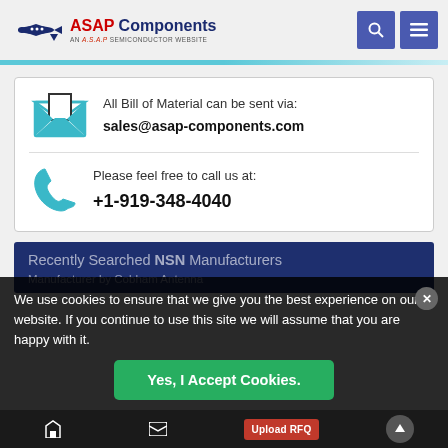ASAP Components - AN A.S.A.P SEMICONDUCTOR WEBSITE
[Figure (infographic): Contact info card with envelope icon showing email and phone icon showing phone number]
All Bill of Material can be sent via: sales@asap-components.com
Please feel free to call us at: +1-919-348-4040
Recently Searched NSN Manufacturers
Manufacturer by Cobham Antenna
We use cookies to ensure that we give you the best experience on our website. If you continue to use this site we will assume that you are happy with it.
Yes, I Accept Cookies.
Upload RFQ